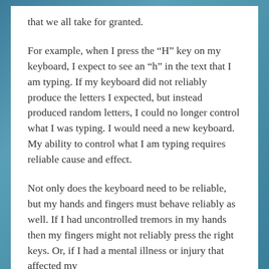that we all take for granted.
For example, when I press the “H” key on my keyboard, I expect to see an “h” in the text that I am typing. If my keyboard did not reliably produce the letters I expected, but instead produced random letters, I could no longer control what I was typing. I would need a new keyboard. My ability to control what I am typing requires reliable cause and effect.
Not only does the keyboard need to be reliable, but my hands and fingers must behave reliably as well. If I had uncontrolled tremors in my hands then my fingers might not reliably press the right keys. Or, if I had a mental illness or injury that affected my